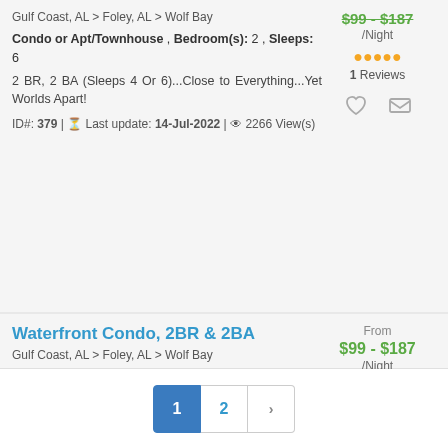Gulf Coast, AL > Foley, AL > Wolf Bay
$99 - $187 /Night
1 Reviews
Condo or Apt/Townhouse , Bedroom(s): 2 , Sleeps: 6
2 BR, 2 BA (Sleeps 4 Or 6)...Close to Everything...Yet Worlds Apart!
ID#: 379 | Last update: 14-Jul-2022 | 2266 View(s)
Waterfront Condo, 2BR & 2BA
Gulf Coast, AL > Foley, AL > Wolf Bay
From $99 - $187 /Night
4 Reviews
Condo or Apt/Townhouse , Bedroom(s): 2 , Sleeps: 6
2 Br, 2 Ba (sleeps 4 Or 6)...Close to Everything...Yet Worlds Apart!
ID#: 375 | Last update: 14-Jul-2022 | 2303 View(s)
1
2
>